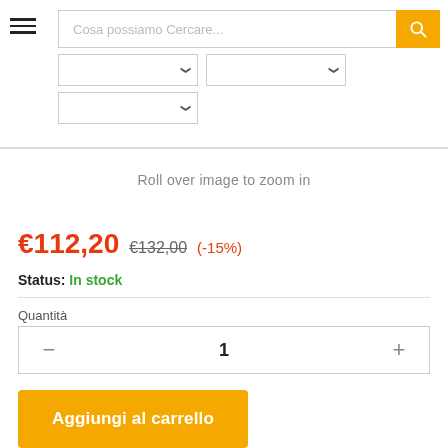[Figure (screenshot): E-commerce search bar with placeholder text 'Cosa possiamo Cercare...' and yellow search button with magnifying glass icon]
[Figure (screenshot): Three dropdown select elements for filtering]
Roll over image to zoom in
€112,20  €132,00  (-15%)
Status: In stock
Quantità
1
Aggiungi al carrello